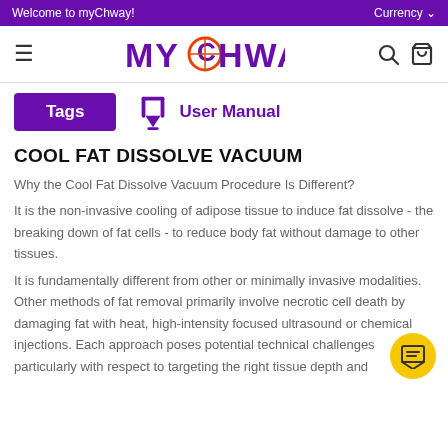Welcome to myChway!    Currency
[Figure (logo): myChway logo with globe icon in the O, hamburger menu, search and cart icons]
Tags   User Manual
COOL FAT DISSOLVE VACUUM
Why the Cool Fat Dissolve Vacuum Procedure Is Different?
It is the non-invasive cooling of adipose tissue to induce fat dissolve - the breaking down of fat cells - to reduce body fat without damage to other tissues.
It is fundamentally different from other or minimally invasive modalities. Other methods of fat removal primarily involve necrotic cell death by damaging fat with heat, high-intensity focused ultrasound or chemical injections. Each approach poses potential technical challenges particularly with respect to targeting the right tissue depth and